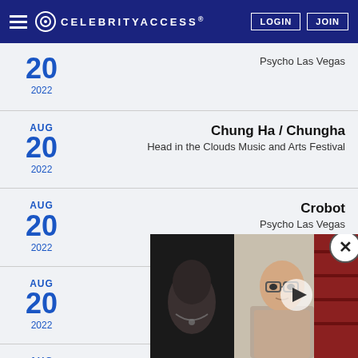CELEBRITYACCESS. LOGIN JOIN
AUG 20 2022 — Psycho Las Vegas
AUG 20 2022 — Chung Ha / Chungha — Head in the Clouds Music and Arts Festival
AUG 20 2022 — Crobot — Psycho Las Vegas
AUG 20 2022 — At The Gates — Psycho Las Vegas
AUG 20 2022 — Head in the...
[Figure (screenshot): Video overlay with close button showing two panels: left panel with a dark close-up portrait photo, right panel with a man wearing glasses and a gray shirt in front of bookshelves, with a play button in the center.]